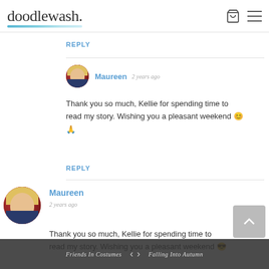doodlewash. [cart icon] [menu icon]
REPLY
Maureen  2 years ago
Thank you so much, Kellie for spending time to read my story. Wishing you a pleasant weekend 😊 🙏
REPLY
Maureen
2 years ago
Thank you so much, Kellie for spending time to read my story. Wishing you a pleasant weekend 😊
Friends In Costumes  ‹  ›  Falling Into Autumn